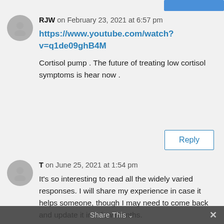RJW on February 23, 2021 at 6:57 pm
https://www.youtube.com/watch?v=q1de09ghB4M
Cortisol pump . The future of treating low cortisol symptoms is hear now .
T on June 25, 2021 at 1:54 pm
It’s so interesting to read all the widely varied responses. I will share my experience in case it helps someone, though I may need to come back and update it in a few months.
I had signs, especially orthostatic issues, for some
Share This